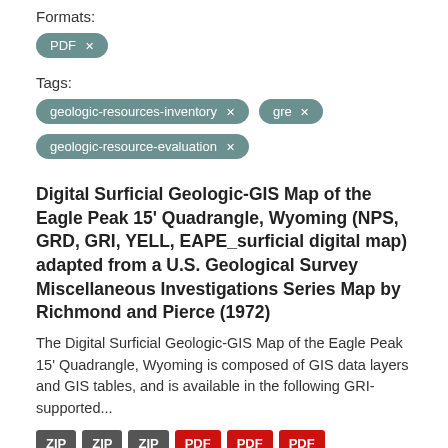Formats:
PDF ×
Tags:
geologic-resources-inventory ×
gre ×
geologic-resource-evaluation ×
Digital Surficial Geologic-GIS Map of the Eagle Peak 15' Quadrangle, Wyoming (NPS, GRD, GRI, YELL, EAPE_surficial digital map) adapted from a U.S. Geological Survey Miscellaneous Investigations Series Map by Richmond and Pierce (1972)
The Digital Surficial Geologic-GIS Map of the Eagle Peak 15' Quadrangle, Wyoming is composed of GIS data layers and GIS tables, and is available in the following GRI-supported...
ZIP ZIP ZIP PDF PDF PDF
Digital Geologic-GIS Map of Jewel Cave